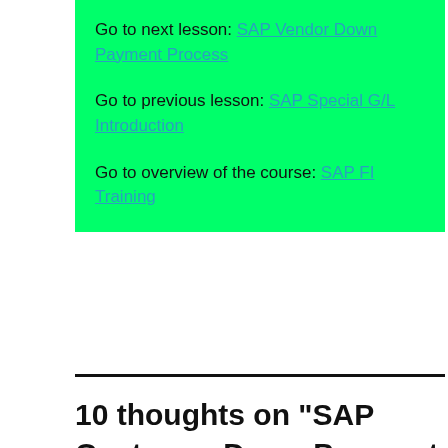Go to next lesson: SAP Vendor Down Payment Process
Go to previous lesson: SAP Special G/L Introduction
Go to overview of the course: SAP FI Training
10 thoughts on “SAP Customer Down Payment Process”